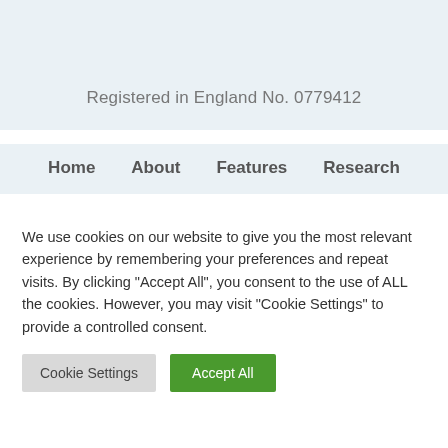Registered in England No. 0779412
Home  About  Features  Research
We use cookies on our website to give you the most relevant experience by remembering your preferences and repeat visits. By clicking “Accept All”, you consent to the use of ALL the cookies. However, you may visit “Cookie Settings” to provide a controlled consent.
Cookie Settings  Accept All